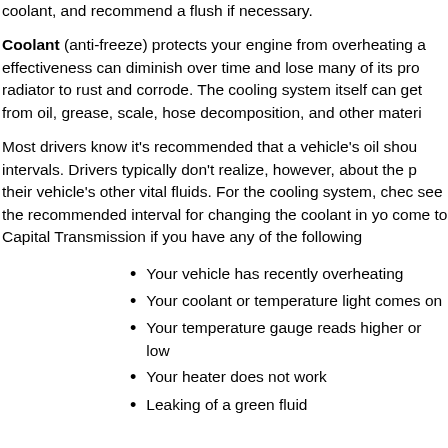coolant, and recommend a flush if necessary.
Coolant (anti-freeze) protects your engine from overheating a effectiveness can diminish over time and lose many of its pro radiator to rust and corrode. The cooling system itself can get from oil, grease, scale, hose decomposition, and other materi
Most drivers know it's recommended that a vehicle's oil shou intervals. Drivers typically don't realize, however, about the p their vehicle's other vital fluids. For the cooling system, chec see the recommended interval for changing the coolant in yo come to Capital Transmission if you have any of the following
Your vehicle has recently overheating
Your coolant or temperature light comes on
Your temperature gauge reads higher or low
Your heater does not work
Leaking of a green fluid